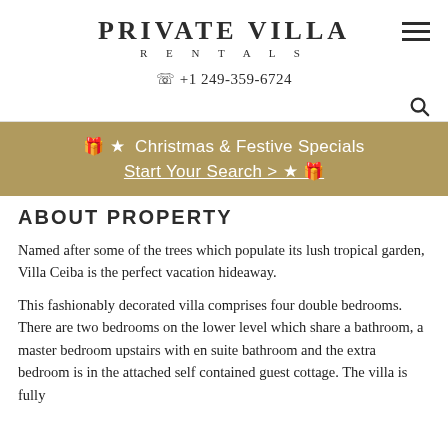PRIVATE VILLA RENTALS
+1 249-359-6724
[Figure (infographic): Christmas & Festive Specials promotional banner with gift and star icons, reading: Christmas & Festive Specials Start Your Search >]
ABOUT PROPERTY
Named after some of the trees which populate its lush tropical garden, Villa Ceiba is the perfect vacation hideaway.
This fashionably decorated villa comprises four double bedrooms. There are two bedrooms on the lower level which share a bathroom, a master bedroom upstairs with en suite bathroom and the extra bedroom is in the attached self contained guest cottage. The villa is fully air conditioned throughout.